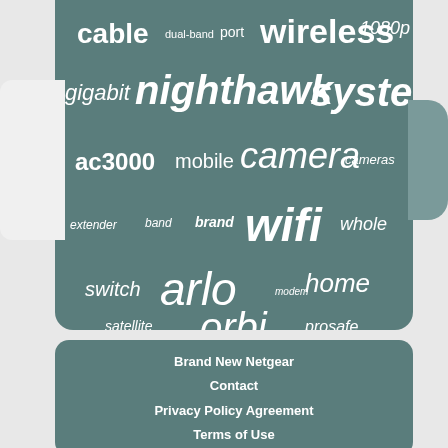[Figure (infographic): Word cloud on teal/dark cyan background showing networking and camera related terms: cable, dual-band, port, wireless, 1080p, gigabit, nighthawk, system, ac3000, mobile, camera, cameras, extender, band, brand, wifi, whole, switch, arlo, modem, home, satellite, orbi, prosafe]
Brand New Netgear
Contact
Privacy Policy Agreement
Terms of Use